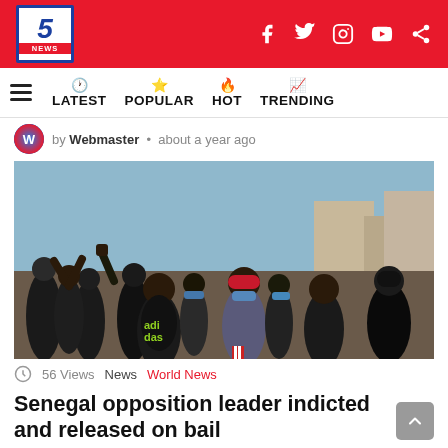5 NEWS
by Webmaster • about a year ago
[Figure (photo): Crowd of protesters marching in the street, several with fists raised, one wearing an Adidas jersey and another a red cap.]
56 Views  News  World News
Senegal opposition leader indicted and released on bail